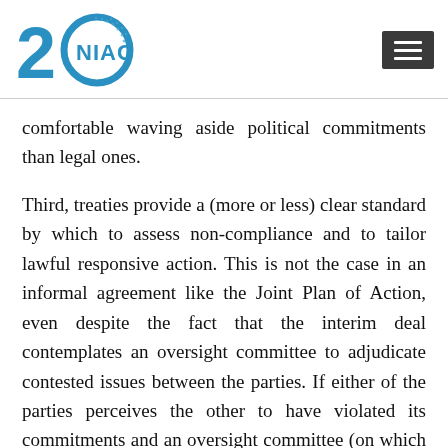NIAC 20th anniversary logo and navigation menu
comfortable waving aside political commitments than legal ones.
Third, treaties provide a (more or less) clear standard by which to assess non-compliance and to tailor lawful responsive action. This is not the case in an informal agreement like the Joint Plan of Action, even despite the fact that the interim deal contemplates an oversight committee to adjudicate contested issues between the parties. If either of the parties perceives the other to have violated its commitments and an oversight committee (on which both parties sit) fails to reconcile the breach, then the parties risk escalating